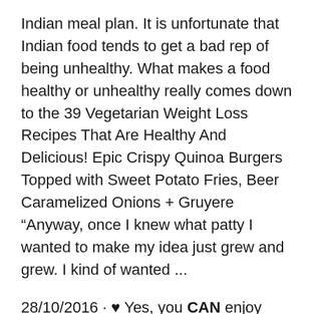Indian meal plan. It is unfortunate that Indian food tends to get a bad rep of being unhealthy. What makes a food healthy or unhealthy really comes down to the 39 Vegetarian Weight Loss Recipes That Are Healthy And Delicious! Epic Crispy Quinoa Burgers Topped with Sweet Potato Fries, Beer Caramelized Onions + Gruyere “Anyway, once I knew what patty I wanted to make my idea just grew and grew. I kind of wanted ...
28/10/2016 · ♥ Yes, you CAN enjoy Indian food as part of a healthy diet. Watch this video for recipes and read below for more information. Happy Diwali! ♥ LIKE, SHARE thi... 39 Vegetarian Weight Loss Recipes That Are Healthy And